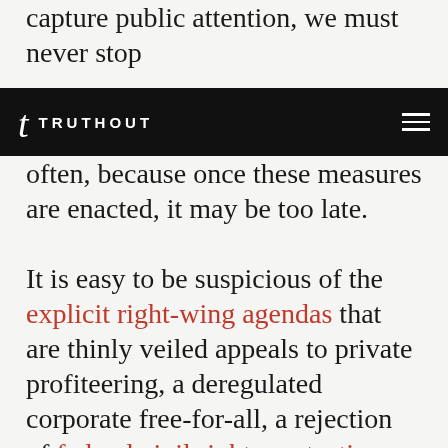capture public attention, we must never stop
TRUTHOUT
often, because once these measures are enacted, it may be too late.

It is easy to be suspicious of the explicit right-wing agendas that are thinly veiled appeals to private profiteering, a deregulated corporate free-for-all, a rejection of federal civil rights protections via an extreme states' rights agenda, and an enhanced police/surveillance state. It is more difficult to uncover the reality of exactly what is included in so called